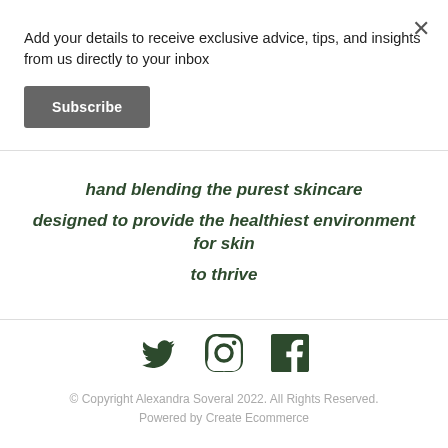×
Add your details to receive exclusive advice, tips, and insights from us directly to your inbox
Subscribe
hand blending the purest skincare
designed to provide the healthiest environment for skin to thrive
[Figure (illustration): Social media icons: Twitter bird, Instagram camera circle, Facebook F square]
© Copyright Alexandra Soveral 2022. All Rights Reserved.
Powered by Create Ecommerce